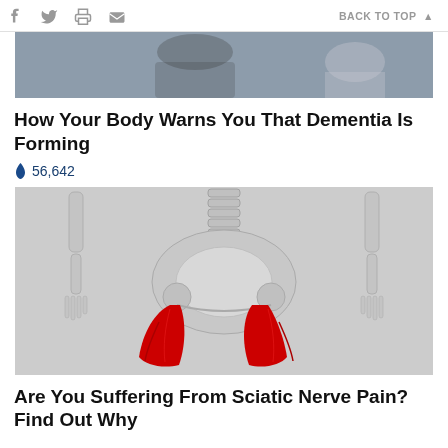f  [twitter]  [print]  [mail]   BACK TO TOP
[Figure (photo): Partial view of a medical/clinical scene with muted tones, top portion cropped]
How Your Body Warns You That Dementia Is Forming
🔥 56,642
[Figure (illustration): Anatomical illustration of a human skeleton from pelvis down, with red highlighted areas on both thighs/upper legs representing sciatic nerve pain regions, on a grey background]
Are You Suffering From Sciatic Nerve Pain? Find Out Why